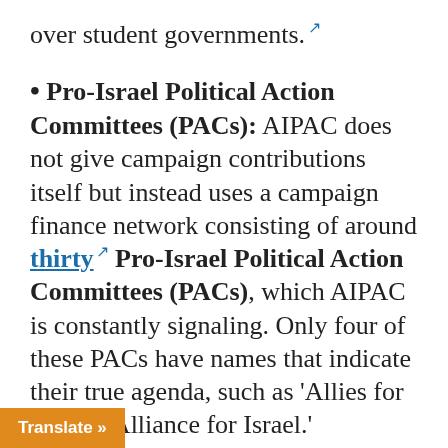over student governments.
• Pro-Israel Political Action Committees (PACs): AIPAC does not give campaign contributions itself but instead uses a campaign finance network consisting of around thirty Pro-Israel Political Action Committees (PACs), which AIPAC is constantly signaling. Only four of these PACs have names that indicate their true agenda, such as 'Allies for … World Alliance for Israel.'